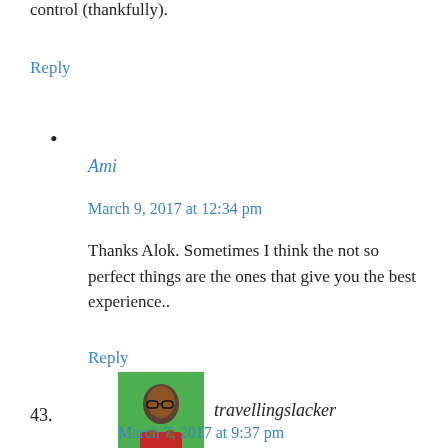control (thankfully).
Reply
Ami
March 9, 2017 at 12:34 pm
Thanks Alok. Sometimes I think the not so perfect things are the ones that give you the best experience..
Reply
[Figure (photo): Avatar photo of travellingslacker, a person wearing glasses with a green background]
43.
travellingslacker
March 7, 2017 at 9:37 pm
Wonderful golden hour images! I guess